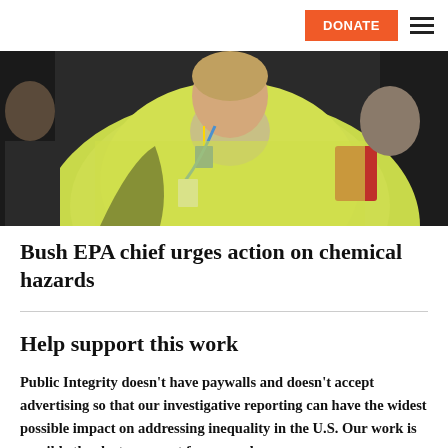DONATE
[Figure (photo): A woman in a yellow-green blazer wearing a conference lanyard, photographed at a public event, with other people visible in the background.]
Bush EPA chief urges action on chemical hazards
Help support this work
Public Integrity doesn't have paywalls and doesn't accept advertising so that our investigative reporting can have the widest possible impact on addressing inequality in the U.S. Our work is possible thanks to support from people